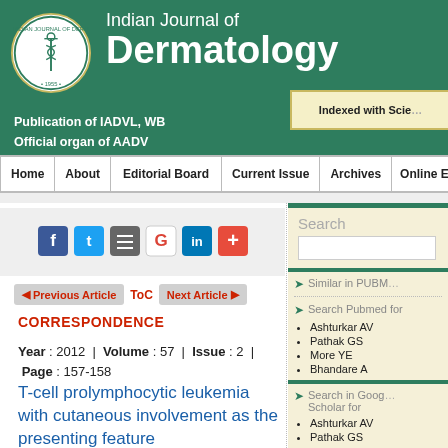Indian Journal of Dermatology — Publication of IADVL, WB | Official organ of AADV | Indexed with Scie[nce]
Home | About | Editorial Board | Current Issue | Archives | Online Early
CORRESPONDENCE
Year : 2012 | Volume : 57 | Issue : 2 | Page : 157-158
T-cell prolymphocytic leukemia with cutaneous involvement as the presenting feature
Similar in PUBM[ed]
Search Pubmed for
Ashturkar AV
Pathak GS
More YE
Bhandare A
Search in Google Scholar for
Ashturkar AV
Pathak GS